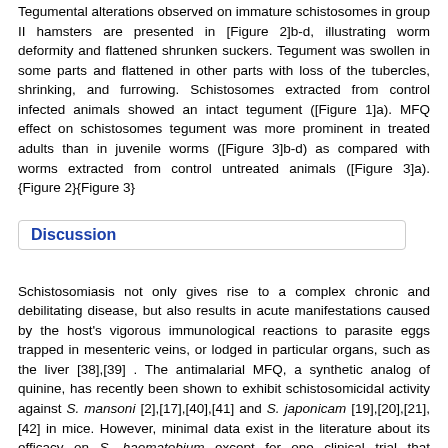Tegumental alterations observed on immature schistosomes in group II hamsters are presented in [Figure 2]b-d, illustrating worm deformity and flattened shrunken suckers. Tegument was swollen in some parts and flattened in other parts with loss of the tubercles, shrinking, and furrowing. Schistosomes extracted from control infected animals showed an intact tegument ([Figure 1]a). MFQ effect on schistosomes tegument was more prominent in treated adults than in juvenile worms ([Figure 3]b-d) as compared with worms extracted from control untreated animals ([Figure 3]a). {Figure 2}{Figure 3}
Discussion
Schistosomiasis not only gives rise to a complex chronic and debilitating disease, but also results in acute manifestations caused by the host's vigorous immunological reactions to parasite eggs trapped in mesenteric veins, or lodged in particular organs, such as the liver [38],[39] . The antimalarial MFQ, a synthetic analog of quinine, has recently been shown to exhibit schistosomicidal activity against S. mansoni [2],[17],[40],[41] and S. japonicam [19],[20],[21],[42] in mice. However, minimal data exist in the literature about its efficacy on S. haematobium except for one clinical trial that assessed the efficacy and safety of MFQ (25 mg/kg) and artesunate (three doses of 4 mg/kg) and reported significantly lower egg reduction rates with artesunate-treated (85%) and MFQ-treated children (74%) [43] . In another experiment on antischistosomal activities of MFQ-related arylmethanols [25] , worms were treated 90 days PI with a single oral dose of 100 and 200 mg/kg